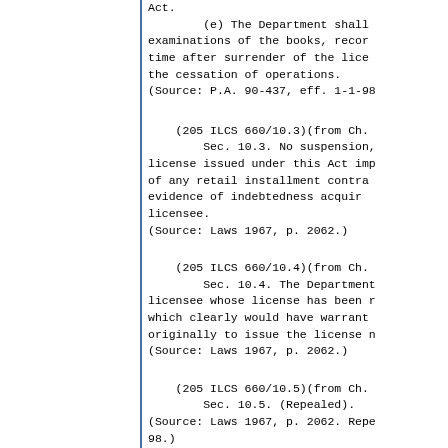Act.
        (e) The Department shall examinations of the books, recor time after surrender of the lice the cessation of operations.
(Source: P.A. 90-437, eff. 1-1-98
(205 ILCS 660/10.3)(from Ch.
        Sec. 10.3. No suspension, license issued under this Act imp of any retail installment contra evidence of indebtedness acquir licensee.
(Source: Laws 1967, p. 2062.)
(205 ILCS 660/10.4)(from Ch.
        Sec. 10.4. The Department licensee whose license has been r which clearly would have warrant originally to issue the license n
(Source: Laws 1967, p. 2062.)
(205 ILCS 660/10.5)(from Ch.
        Sec. 10.5. (Repealed).
(Source: Laws 1967, p. 2062. Repe 98.)
(205 ILCS 660/10.6)
        Sec. 10.6. Companion animals enter into a retail installment c